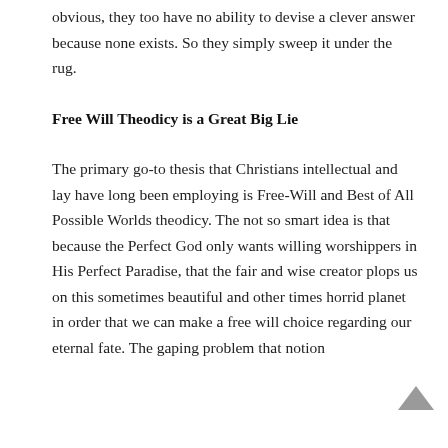obvious, they too have no ability to devise a clever answer because none exists. So they simply sweep it under the rug.
Free Will Theodicy is a Great Big Lie
The primary go-to thesis that Christians intellectual and lay have long been employing is Free-Will and Best of All Possible Worlds theodicy. The not so smart idea is that because the Perfect God only wants willing worshippers in His Perfect Paradise, that the fair and wise creator plops us on this sometimes beautiful and other times horrid planet in order that we can make a free will choice regarding our eternal fate. The gaping problem that notion